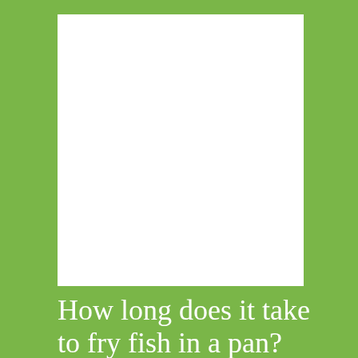[Figure (other): White rectangular image placeholder on a green background]
How long does it take to fry fish in a pan?